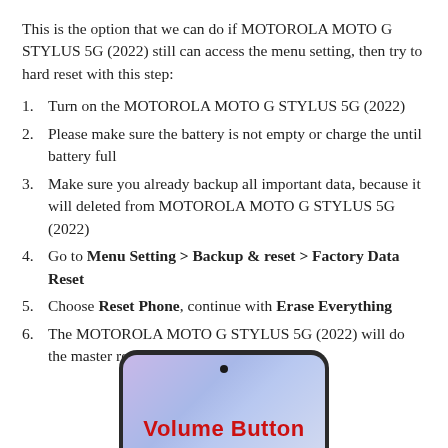This is the option that we can do if MOTOROLA MOTO G STYLUS 5G (2022) still can access the menu setting, then try to hard reset with this step:
Turn on the MOTOROLA MOTO G STYLUS 5G (2022)
Please make sure the battery is not empty or charge the until battery full
Make sure you already backup all important data, because it will deleted from MOTOROLA MOTO G STYLUS 5G (2022)
Go to Menu Setting > Backup & reset > Factory Data Reset
Choose Reset Phone, continue with Erase Everything
The MOTOROLA MOTO G STYLUS 5G (2022) will do the master reset until finish
[Figure (illustration): Partial image of a smartphone screen showing 'Volume Button' text in red bold letters on a gradient purple-blue screen background, with a dark phone bezel and camera cutout visible at top.]